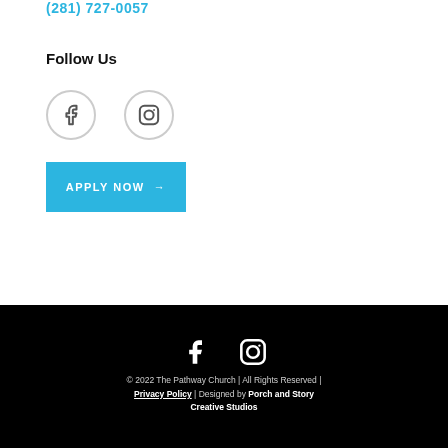(281) 727-0057
Follow Us
[Figure (illustration): Facebook and Instagram icons (circular outline style) in gray]
APPLY NOW →
[Figure (illustration): Facebook and Instagram icons (solid white) in footer]
© 2022 The Pathway Church | All Rights Reserved | Privacy Policy | Designed by Porch and Story Creative Studios